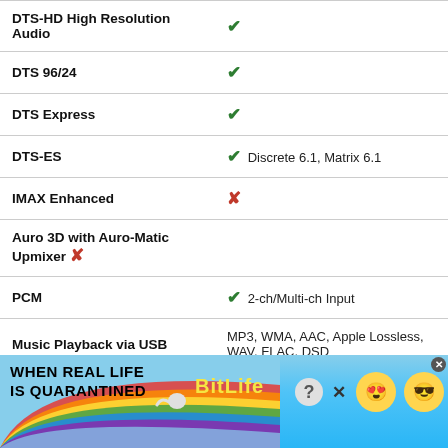| Feature | Support |
| --- | --- |
| DTS-HD High Resolution Audio | ✔ |
| DTS 96/24 | ✔ |
| DTS Express | ✔ |
| DTS-ES | ✔ Discrete 6.1, Matrix 6.1 |
| IMAX Enhanced | ✘ |
| Auro 3D with Auro-Matic Upmixer | ✘ |
| PCM | ✔ 2-ch/Multi-ch Input |
| Music Playback via USB | MP3, WMA, AAC, Apple Lossless, WAV, FLAC, DSD |
| High Resolution Music Playback |  |
[Figure (screenshot): BitLife advertisement banner with rainbow and animated characters]